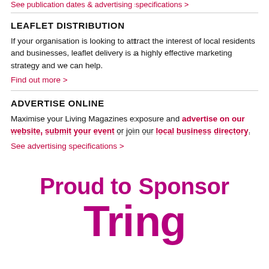See publication dates & advertising specifications >
LEAFLET DISTRIBUTION
If your organisation is looking to attract the interest of local residents and businesses, leaflet delivery is a highly effective marketing strategy and we can help.
Find out more >
ADVERTISE ONLINE
Maximise your Living Magazines exposure and advertise on our website, submit your event or join our local business directory. See advertising specifications >
[Figure (illustration): Proud to Sponsor Tring text in magenta/pink bold font on white background]